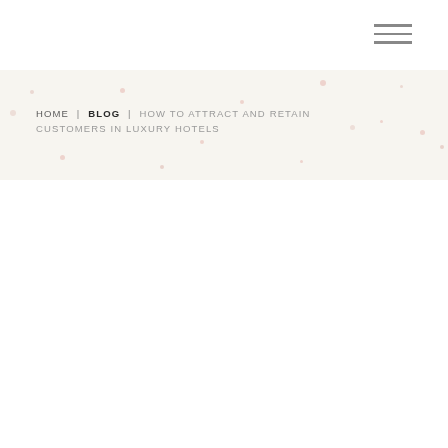HOME | BLOG | HOW TO ATTRACT AND RETAIN CUSTOMERS IN LUXURY HOTELS